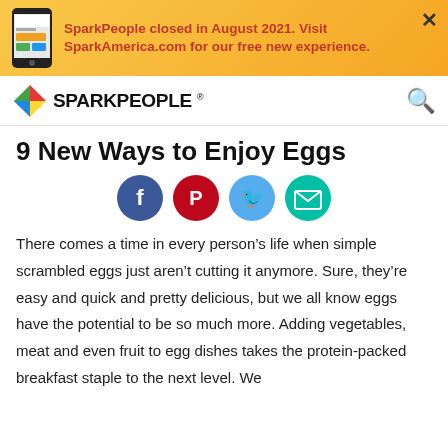SparkPeople closed in August 2021. Visit SparkAmerica.com for our free new experience.
[Figure (logo): SparkPeople logo with colorful diamond and SPARKPEOPLE text]
9 New Ways to Enjoy Eggs
[Figure (infographic): Four social sharing buttons: Facebook (blue), Pinterest (red), Twitter (light blue), Email (teal)]
There comes a time in every person’s life when simple scrambled eggs just aren’t cutting it anymore. Sure, they’re easy and quick and pretty delicious, but we all know eggs have the potential to be so much more. Adding vegetables, meat and even fruit to egg dishes takes the protein-packed breakfast staple to the next level. We